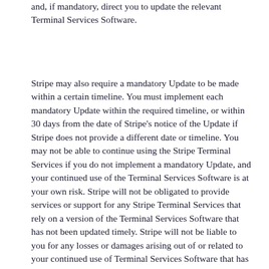and, if mandatory, direct you to update the relevant Terminal Services Software.
Stripe may also require a mandatory Update to be made within a certain timeline. You must implement each mandatory Update within the required timeline, or within 30 days from the date of Stripe's notice of the Update if Stripe does not provide a different date or timeline. You may not be able to continue using the Stripe Terminal Services if you do not implement a mandatory Update, and your continued use of the Terminal Services Software is at your own risk. Stripe will not be obligated to provide services or support for any Stripe Terminal Services that rely on a version of the Terminal Services Software that has not been updated timely. Stripe will not be liable to you for any losses or damages arising out of or related to your continued use of Terminal Services Software that has not been updated timely. Sections 3 and 4 of these